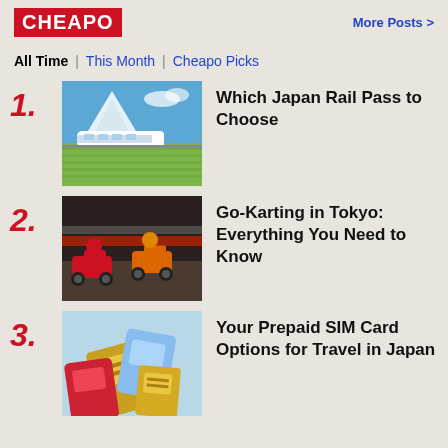CHEAPO   More Posts >
All Time | This Month | Cheapo Picks
1. Which Japan Rail Pass to Choose
2. Go-Karting in Tokyo: Everything You Need to Know
3. Your Prepaid SIM Card Options for Travel in Japan